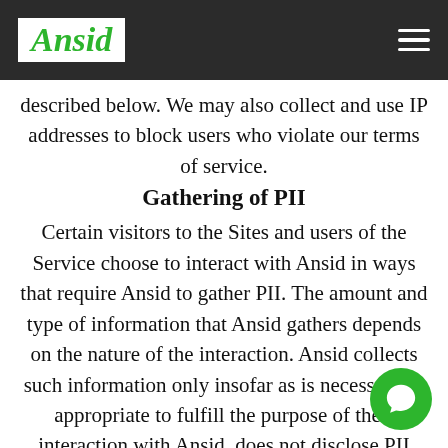Ansid
described below. We may also collect and use IP addresses to block users who violate our terms of service.
Gathering of PII
Certain visitors to the Sites and users of the Service choose to interact with Ansid in ways that require Ansid to gather PII. The amount and type of information that Ansid gathers depends on the nature of the interaction. Ansid collects such information only insofar as is necessary or appropriate to fulfill the purpose of their interaction with Ansid. does not disclose PII other than as described below. And visitors can always refuse to